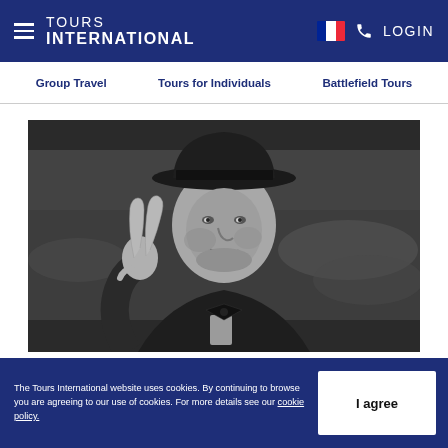TOURS INTERNATIONAL
Group Travel   Tours for Individuals   Battlefield Tours
[Figure (photo): Black and white photograph of Winston Churchill wearing a bowler hat and bow tie, making a V for Victory sign with his right hand]
The Tours International website uses cookies. By continuing to browse you are agreeing to our use of cookies. For more details see our cookie policy.